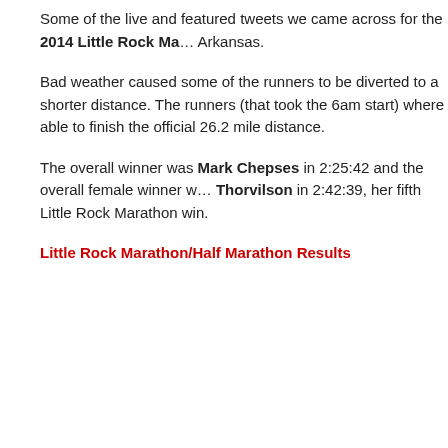Some of the live and featured tweets we came across for the 2014 Little Rock Ma… Arkansas.
Bad weather caused some of the runners to be diverted to a shorter distance. The runners (that took the 6am start) where able to finish the official 26.2 mile distance.
The overall winner was Mark Chepses in 2:25:42 and the overall female winner w… Thorvilson in 2:42:39, her fifth Little Rock Marathon win.
Little Rock Marathon/Half Marathon Results